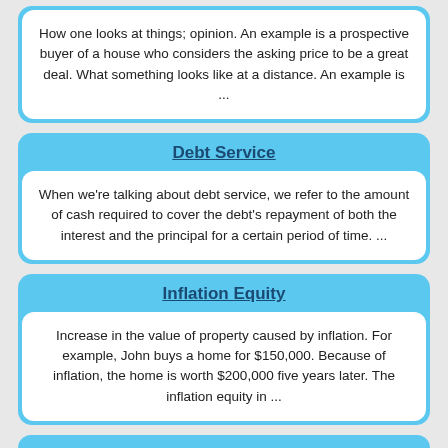How one looks at things; opinion. An example is a prospective buyer of a house who considers the asking price to be a great deal. What something looks like at a distance. An example is ...
Debt Service
When we're talking about debt service, we refer to the amount of cash required to cover the debt's repayment of both the interest and the principal for a certain period of time. ...
Inflation Equity
Increase in the value of property caused by inflation. For example, John buys a home for $150,000. Because of inflation, the home is worth $200,000 five years later. The inflation equity in ...
Sale